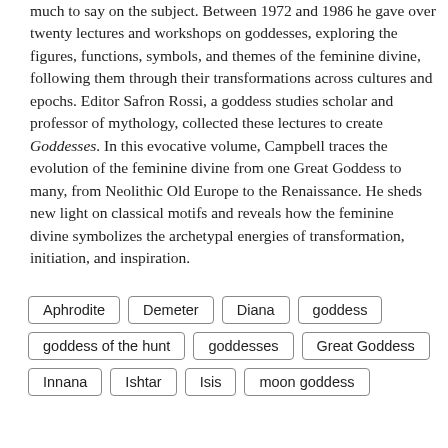much to say on the subject. Between 1972 and 1986 he gave over twenty lectures and workshops on goddesses, exploring the figures, functions, symbols, and themes of the feminine divine, following them through their transformations across cultures and epochs. Editor Safron Rossi, a goddess studies scholar and professor of mythology, collected these lectures to create Goddesses. In this evocative volume, Campbell traces the evolution of the feminine divine from one Great Goddess to many, from Neolithic Old Europe to the Renaissance. He sheds new light on classical motifs and reveals how the feminine divine symbolizes the archetypal energies of transformation, initiation, and inspiration.
Aphrodite
Demeter
Diana
goddess
goddess of the hunt
goddesses
Great Goddess
Innana
Ishtar
Isis
moon goddess